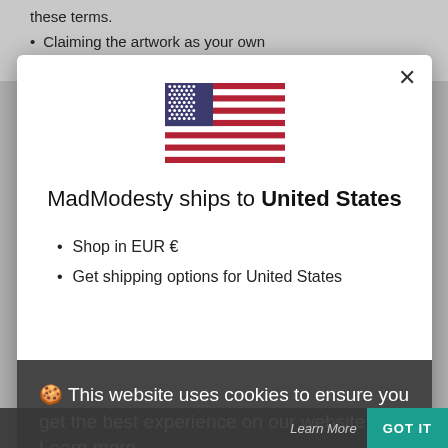these terms.
Claiming the artwork as your own
Altering the artwork without my consent
[Figure (illustration): US flag emoji/icon]
MadModesty ships to United States
Shop in EUR €
Get shipping options for United States
🍪 This website uses cookies to ensure you get the best experience on our website.  Learn more
Got it!
SHOP NOW
CHANGE SHIPPING COUNTRY
Learn More
GOT IT